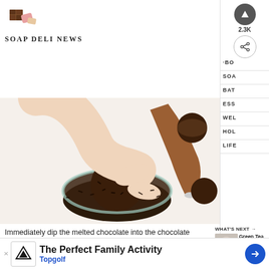[Figure (logo): Soap Deli News logo with chocolate/soap block icon and brand name text]
[Figure (photo): Hand dipping a chocolate-coated ball into a glass bowl of chocolate jimmies/sprinkles, with a piping bag and more chocolate treats in the background]
Immediately dip the melted chocolate into the chocolate jimmies or sprinkles.
Now place… Dip the t…
[Figure (photo): What's Next thumbnail: Green Tea Bombs recipe image]
WHAT'S NEXT → Green Tea Bombs Reci...
[Figure (infographic): Advertisement banner: The Perfect Family Activity - Topgolf, with Topgolf logo and navigation arrow icon]